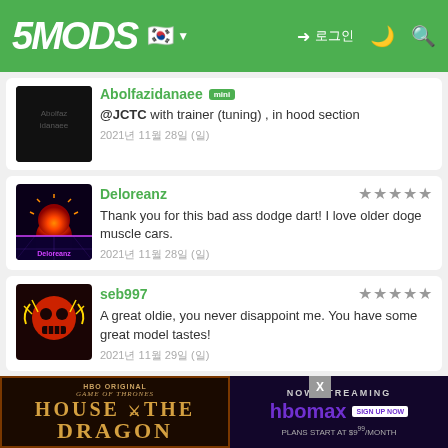5MODS [Korean flag] [dark mode] [search] [sign in] 로그인
Abolfazidanaee [mini] @JCTC with trainer (tuning) , in hood section
2021년 11월 28일 (일)
Deloreanz ★★★★★ Thank you for this bad ass dodge dart! I love older doge muscle cars.
2021년 11월 28일 (일)
seb997 ★★★★★ A great oldie, you never disappoint me. You have some great model tastes!
2021년 11월 29일 (일)
bloodykills ★★★ Nicely done🎉
[Figure (screenshot): HBO Max advertisement banner for House of the Dragon. Left side shows dark background with ornate border and 'HOUSE OF THE DRAGON' title. Right side shows 'NOW STREAMING HBO max SIGN UP NOW PLANS START AT $9⁹⁹/MONTH']